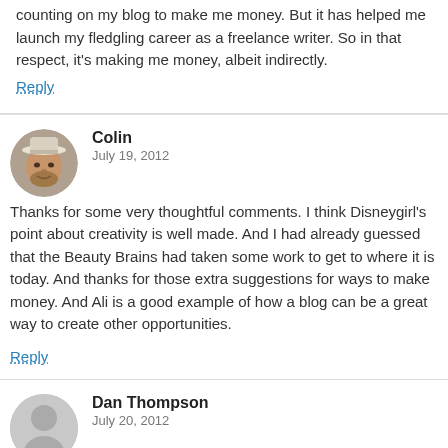counting on my blog to make me money. But it has helped me launch my fledgling career as a freelance writer. So in that respect, it's making me money, albeit indirectly.
Reply
Colin
July 19, 2012
Thanks for some very thoughtful comments. I think Disneygirl's point about creativity is well made. And I had already guessed that the Beauty Brains had taken some work to get to where it is today. And thanks for those extra suggestions for ways to make money. And Ali is a good example of how a blog can be a great way to create other opportunities.
Reply
Dan Thompson
July 20, 2012
Blogging has never been a source of income for me rather a platform to bring awareness to my skills and products which in turn generate income.